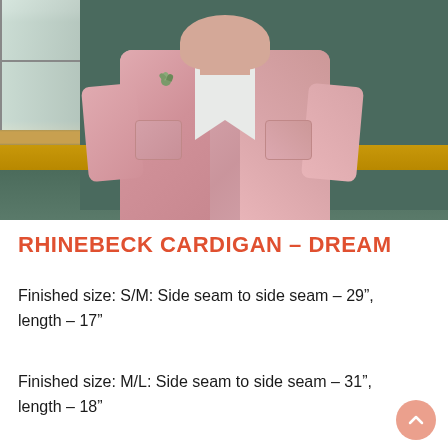[Figure (photo): A person wearing a pink knitted cardigan over a white dress, standing in front of a teal/dark green wall, with a small succulent plant pinned to the left chest of the cardigan.]
RHINEBECK CARDIGAN – DREAM
Finished size: S/M: Side seam to side seam – 29", length – 17"
Finished size: M/L: Side seam to side seam – 31", length – 18"